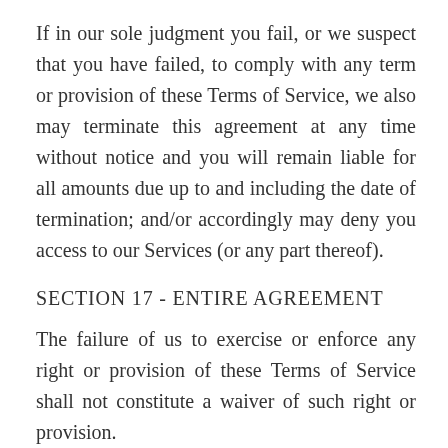If in our sole judgment you fail, or we suspect that you have failed, to comply with any term or provision of these Terms of Service, we also may terminate this agreement at any time without notice and you will remain liable for all amounts due up to and including the date of termination; and/or accordingly may deny you access to our Services (or any part thereof).
SECTION 17 - ENTIRE AGREEMENT
The failure of us to exercise or enforce any right or provision of these Terms of Service shall not constitute a waiver of such right or provision. These Terms of Service and any policies or operating rules posted by us on this site or in respect to The Service constitutes the entire agreement and understanding between you and us and govern your use of the Service, superseding any prior or